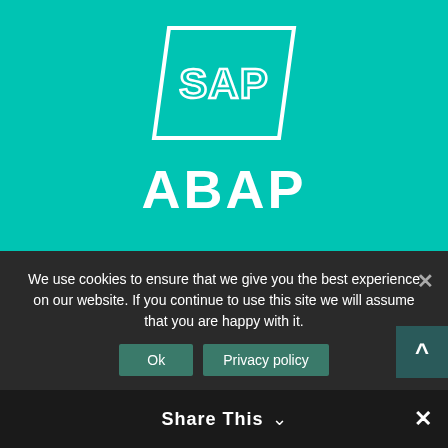[Figure (logo): SAP logo in white outline on teal background]
ABAP
ABAP DEVELOPMENT FOR SAP
[Figure (logo): SAP logo in white outline on teal background (second instance)]
UI5 / FIORI
We use cookies to ensure that we give you the best experience on our website. If you continue to use this site we will assume that you are happy with it.
Ok    Privacy policy
Share This